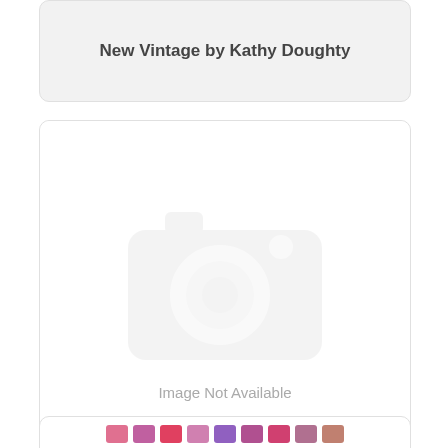New Vintage by Kathy Doughty
[Figure (photo): Image Not Available placeholder with camera icon]
One Mile Radiant by Anna Maria Hor...
[Figure (photo): Partial card with color swatches visible at bottom]